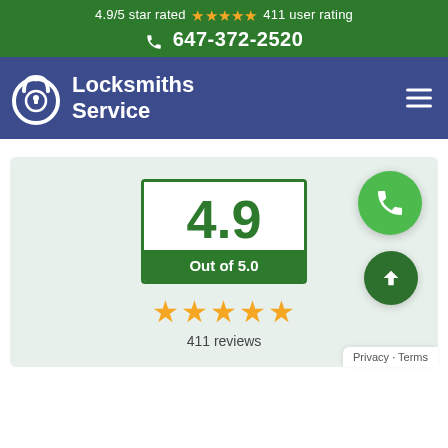4.9/5 star rated ★★★★★ 411 user rating
📞 647-372-2520
[Figure (logo): Locksmiths Service logo with padlock icon on dark blue/purple background, with hamburger menu icon]
[Figure (infographic): Rating widget showing 4.9 out of 5.0 in a green bordered box, with 5 gold stars and '411 reviews' text, on light blue-green background. Floating green phone button and green up-arrow button on the right.]
411 reviews
Privacy · Terms